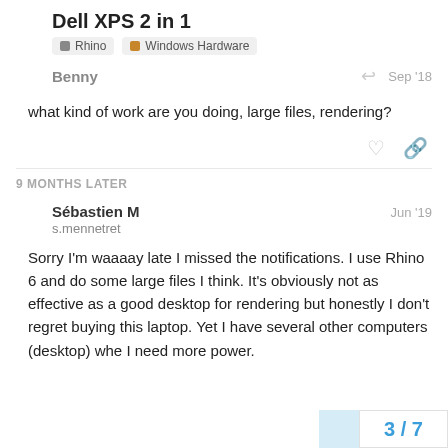Dell XPS 2 in 1
Rhino   Windows Hardware
Benny
Sep '18
what kind of work are you doing, large files, rendering?
9 MONTHS LATER
Sébastien M
s.mennetret
Jun '19
Sorry I'm waaaay late I missed the notifications. I use Rhino 6 and do some large files I think. It's obviously not as effective as a good desktop for rendering but honestly I don't regret buying this laptop. Yet I have several other computers (desktop) whe I need more power.
3 / 7